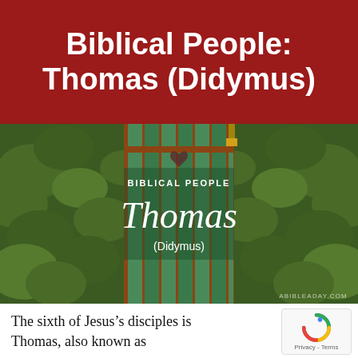Biblical People: Thomas (Didymus)
[Figure (photo): A green wooden door surrounded by lush ivy and green leaves, with an overlay showing text: BIBLICAL PEOPLE / Thomas / (Didymus) and ABIBLEADAY.COM at the bottom right]
The sixth of Jesus’s disciples is Thomas, also known as